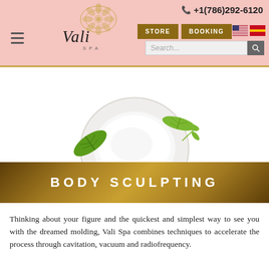+1(786)292-6120 | STORE | BOOKING | Vali Spa
[Figure (illustration): Top-down view of a round cream/moisturizer jar with white cream inside, surrounded by two green leaves on a white background]
BODY SCULPTING
Thinking about your figure and the quickest and simplest way to see you with the dreamed molding, Vali Spa combines techniques to accelerate the process through cavitation, vacuum and radiofrequency.